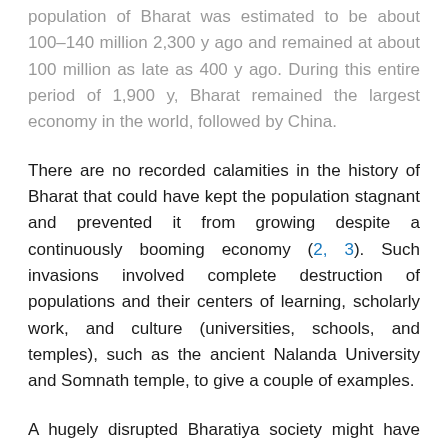population of Bharat was estimated to be about 100–140 million 2,300 y ago and remained at about 100 million as late as 400 y ago. During this entire period of 1,900 y, Bharat remained the largest economy in the world, followed by China.
There are no recorded calamities in the history of Bharat that could have kept the population stagnant and prevented it from growing despite a continuously booming economy (2, 3). Such invasions involved complete destruction of populations and their centers of learning, scholarly work, and culture (universities, schools, and temples), such as the ancient Nalanda University and Somnath temple, to give a couple of examples.
A hugely disrupted Bharatiya society might have thus been a very fertile receptive ground for the induction of a new social